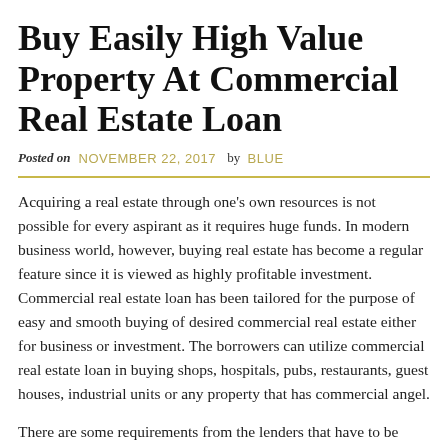Buy Easily High Value Property At Commercial Real Estate Loan
Posted on NOVEMBER 22, 2017 by BLUE
Acquiring a real estate through one's own resources is not possible for every aspirant as it requires huge funds. In modern business world, however, buying real estate has become a regular feature since it is viewed as highly profitable investment. Commercial real estate loan has been tailored for the purpose of easy and smooth buying of desired commercial real estate either for business or investment. The borrowers can utilize commercial real estate loan in buying shops, hospitals, pubs, restaurants, guest houses, industrial units or any property that has commercial angel.
There are some requirements from the lenders that have to be fulfilled for acquiring commercial real estate loan.